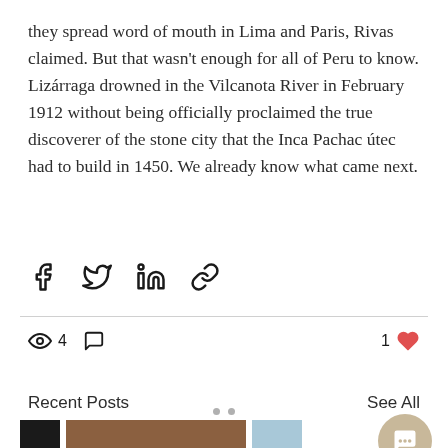they spread word of mouth in Lima and Paris, Rivas claimed. But that wasn't enough for all of Peru to know. Lizárraga drowned in the Vilcanota River in February 1912 without being officially proclaimed the true discoverer of the stone city that the Inca Pachac útec had to build in 1450. We already know what came next.
[Figure (infographic): Social share icons: Facebook, Twitter, LinkedIn, and link/chain icon]
[Figure (infographic): Stats bar: eye icon with count 4, comment bubble icon, and 1 heart/like icon]
Recent Posts
See All
[Figure (photo): Thumbnail images of recent posts: a dark image on left, a brown interior building photo in center, and a blue sky image on right. A chat bubble overlay appears in the bottom right area.]